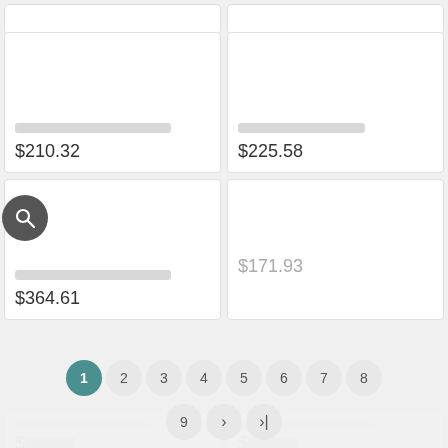[Figure (screenshot): Product listing grid showing price cards. Top partial cards visible, then two full cards with prices $210.32 and $225.58, then two more cards with prices $364.61 and $171.93 (faded). A search icon circle is on the left. Pagination overlay shows pages 1-9 with next/last buttons. Bottom partial cards with prices partially visible.]
$210.32
$225.58
$364.61
$171.93
1
2
3
4
5
6
7
8
9